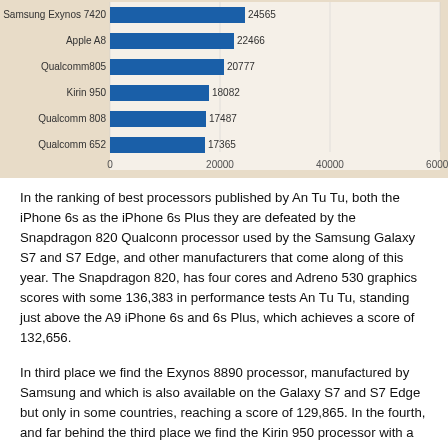[Figure (bar-chart): Processor benchmark scores]
In the ranking of best processors published by An Tu Tu, both the iPhone 6s as the iPhone 6s Plus they are defeated by the Snapdragon 820 Qualconn processor used by the Samsung Galaxy S7 and S7 Edge, and other manufacturers that come along of this year. The Snapdragon 820, has four cores and Adreno 530 graphics scores with some 136,383 in performance tests An Tu Tu, standing just above the A9 iPhone 6s and 6s Plus, which achieves a score of 132,656.
In third place we find the Exynos 8890 processor, manufactured by Samsung and which is also available on the Galaxy S7 and S7 Edge but only in some countries, reaching a score of 129,865. In the fourth, and far behind the third place we find the Kirin 950 processor with a score of 92,746.
The test results of the GPU are even more impressive for